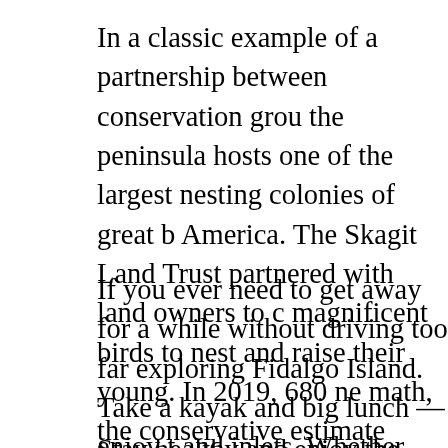In a classic example of a partnership between conservation grou the peninsula hosts one of the largest nesting colonies of great b America. The Skagit Land Trust partnered with land owners to c magnificent birds to nest and raise their young. In 2019, 680 ne math, the conservative estimate would list the total number of b The area is closed to the public, but the herons will be quite visi nesting season.
If you ever need to get away for a while without driving too far exploring Fidalgo Island. Take a kayak and big lunch — enjoy t and inlets. Whether you stay for just a day or longer, you'll be i
Stay healthy and enjoy the outdoors as often as you're able to d
Joe Meche is a past president of the North Cascades Audubon S board of directors for 20 years. He has been watching birds for